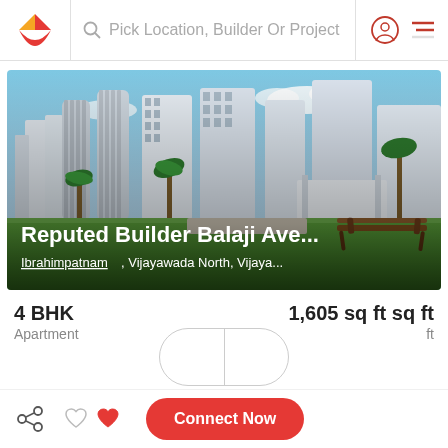Pick Location, Builder Or Project
[Figure (photo): Photograph of a large residential apartment complex with multiple high-rise white buildings, palm trees, manicured green lawn, and a wooden bench in the foreground under a blue sky with clouds. Text overlay reads: Reputed Builder Balaji Ave... / Ibrahimpatnam, Vijayawada North, Vijaya...]
Reputed Builder Balaji Ave...
Ibrahimpatnam, Vijayawada North, Vijaya...
4 BHK
Apartment
1,605 sq ft sq ft
Under Construction
Connect Now